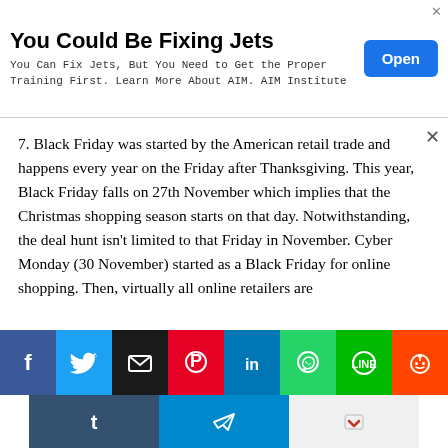[Figure (other): Advertisement banner: 'You Could Be Fixing Jets' with subtitle 'You Can Fix Jets, But You Need to Get the Proper Training First. Learn More About AIM. AIM Institute' and a blue 'Open' button]
7. Black Friday was started by the American retail trade and happens every year on the Friday after Thanksgiving. This year, Black Friday falls on 27th November which implies that the Christmas shopping season starts on that day. Notwithstanding, the deal hunt isn't limited to that Friday in November. Cyber Monday (30 November) started as a Black Friday for online shopping. Then, virtually all online retailers are
[Figure (infographic): Social media share buttons row: Facebook (blue), Twitter (light blue), Email (black), Pinterest (red), LinkedIn (blue), WhatsApp (green), LINE (green), Reddit (orange), and second row: Tumblr (dark blue), Telegram (blue), Pocket (light gray with red icon)]